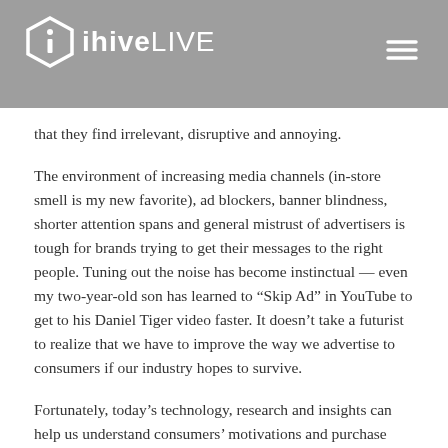ihiveLIVE
that they find irrelevant, disruptive and annoying.
The environment of increasing media channels (in-store smell is my new favorite), ad blockers, banner blindness, shorter attention spans and general mistrust of advertisers is tough for brands trying to get their messages to the right people. Tuning out the noise has become instinctual — even my two-year-old son has learned to “Skip Ad” in YouTube to get to his Daniel Tiger video faster. It doesn’t take a futurist to realize that we have to improve the way we advertise to consumers if our industry hopes to survive.
Fortunately, today’s technology, research and insights can help us understand consumers’ motivations and purchase behavior better than ever before and enable advertisers to give consumers what they really want: not less